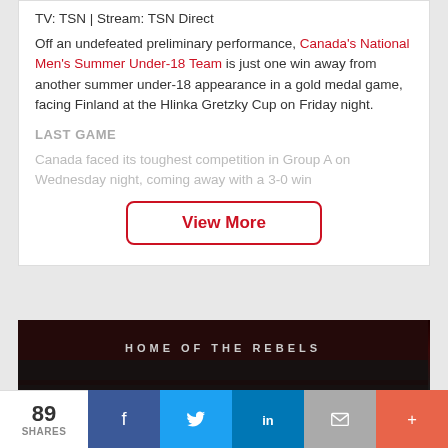TV: TSN | Stream: TSN Direct
Off an undefeated preliminary performance, Canada's National Men's Summer Under-18 Team is just one win away from another summer under-18 appearance in a gold medal game, facing Finland at the Hlinka Gretzky Cup on Friday night.
LAST GAME
Canada faced its toughest competition in Group A on Wednesday night, coming away with a 3-0 win
View More
[Figure (photo): Arena photo showing 'HOME OF THE REBELS' banner text in a dark hockey arena]
89 SHARES